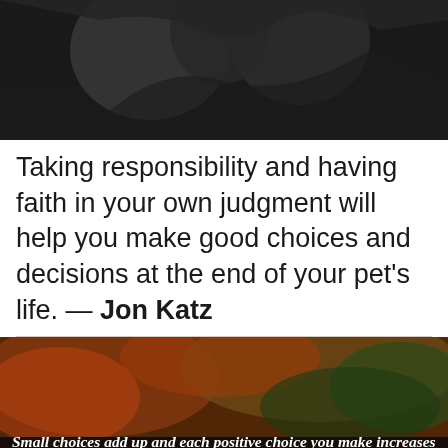[Figure (photo): Dark image of stone sculptures/statues with dim lighting]
Taking responsibility and having faith in your own judgment will help you make good choices and decisions at the end of your pet's life. — Jon Katz
[Figure (photo): Dark outdoor scene with autumn foliage in red and green, with overlaid quote text: 'Small choices add up and each positive choice you make increases confidence and dispels fear.' attributed to Bligh Fabri, with wisefamousquotes.com watermark]